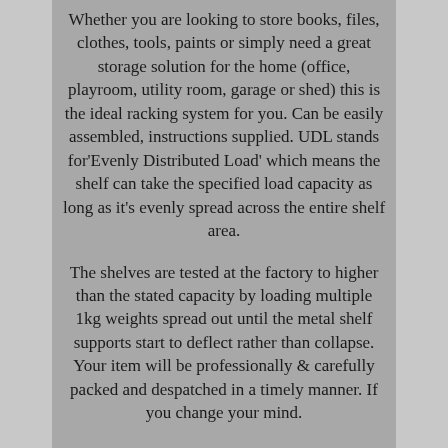Whether you are looking to store books, files, clothes, tools, paints or simply need a great storage solution for the home (office, playroom, utility room, garage or shed) this is the ideal racking system for you. Can be easily assembled, instructions supplied. UDL stands for'Evenly Distributed Load' which means the shelf can take the specified load capacity as long as it's evenly spread across the entire shelf area.
The shelves are tested at the factory to higher than the stated capacity by loading multiple 1kg weights spread out until the metal shelf supports start to deflect rather than collapse. Your item will be professionally & carefully packed and despatched in a timely manner. If you change your mind.
If you have simply changed your mind about any item ordered and you wish to return it, then you can do so provided you inform us of your decision within 30 days of receipt. If